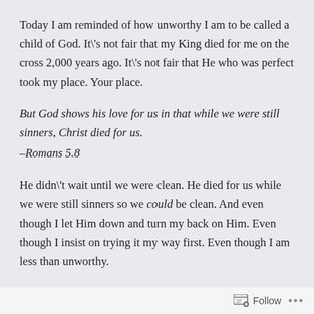Today I am reminded of how unworthy I am to be called a child of God. It\'s not fair that my King died for me on the cross 2,000 years ago. It\'s not fair that He who was perfect took my place. Your place.
But God shows his love for us in that while we were still sinners, Christ died for us. –Romans 5.8
He didn\'t wait until we were clean. He died for us while we were still sinners so we could be clean. And even though I let Him down and turn my back on Him. Even though I insist on trying it my way first. Even though I am less than unworthy.
Follow ...